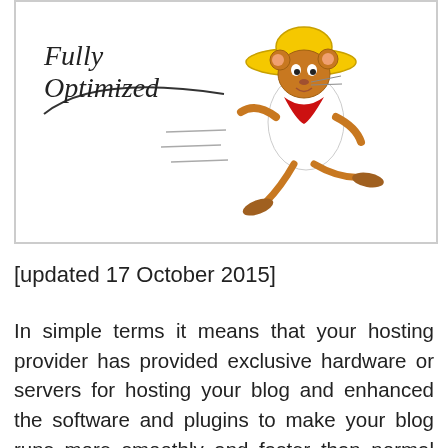[Figure (illustration): Cartoon illustration of Speedy Gonzales running fast, with italic text reading 'Fully Optimized' and a swoosh line, set inside a bordered box]
[updated 17 October 2015]
In simple terms it means that your hosting provider has provided exclusive hardware or servers for hosting your blog and enhanced the software and plugins to make your blog runs more smoothly and faster than normal blogs and websites. You can also say it is better than shared hosting but more affordable than many dedicated hosting plans